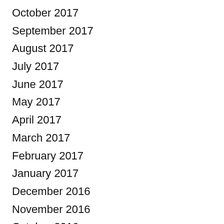October 2017
September 2017
August 2017
July 2017
June 2017
May 2017
April 2017
March 2017
February 2017
January 2017
December 2016
November 2016
October 2016
September 2016
August 2016
July 2016
June 2016
May 2016